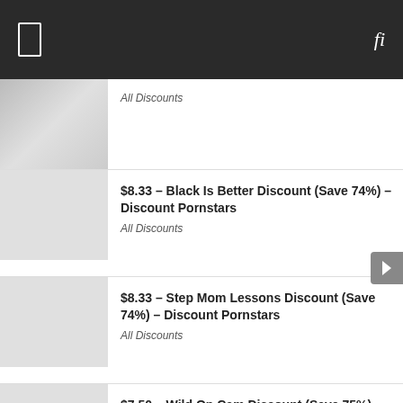[Figure (photo): Thumbnail image of a person at a computer]
All Discounts
$8.33 – Black Is Better Discount (Save 74%) – Discount Pornstars
All Discounts
$8.33 – Step Mom Lessons Discount (Save 74%) – Discount Pornstars
All Discounts
$7.50 – Wild On Cam Discount (Save 75%) – Discount Pornstars
All Discounts